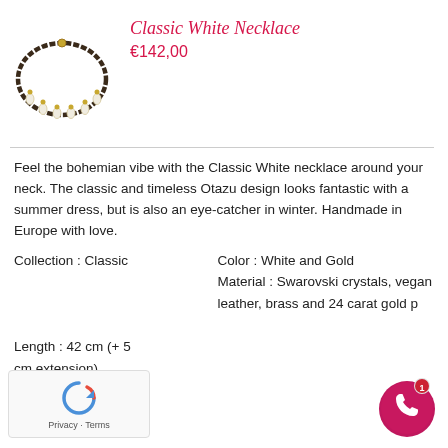[Figure (photo): A gold and dark braided necklace with small white crystal/pearl charms hanging from it, shown on a white background.]
Classic White Necklace
€142,00
Feel the bohemian vibe with the Classic White necklace around your neck. The classic and timeless Otazu design looks fantastic with a summer dress, but is also an eye-catcher in winter. Handmade in Europe with love.
Collection : Classic
Color : White and Gold
Material : Swarovski crystals, vegan leather, brass and 24 carat gold p
Length : 42 cm (+ 5 cm extension)
[Figure (logo): Google reCAPTCHA logo with recycling arrow icon and 'Privacy - Terms' text]
[Figure (illustration): WhatsApp chat button - pink/red circle with white phone icon and notification badge showing '1']